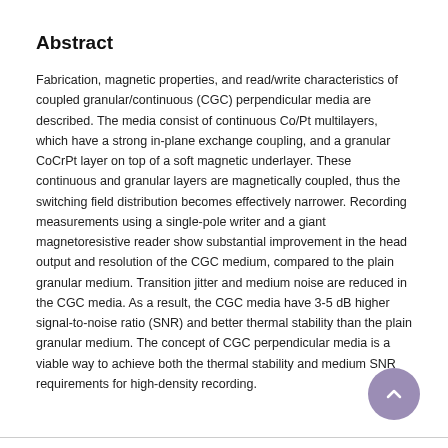Abstract
Fabrication, magnetic properties, and read/write characteristics of coupled granular/continuous (CGC) perpendicular media are described. The media consist of continuous Co/Pt multilayers, which have a strong in-plane exchange coupling, and a granular CoCrPt layer on top of a soft magnetic underlayer. These continuous and granular layers are magnetically coupled, thus the switching field distribution becomes effectively narrower. Recording measurements using a single-pole writer and a giant magnetoresistive reader show substantial improvement in the head output and resolution of the CGC medium, compared to the plain granular medium. Transition jitter and medium noise are reduced in the CGC media. As a result, the CGC media have 3-5 dB higher signal-to-noise ratio (SNR) and better thermal stability than the plain granular medium. The concept of CGC perpendicular media is a viable way to achieve both the thermal stability and medium SNR requirements for high-density recording.